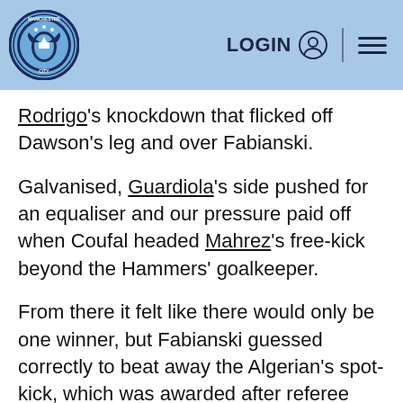Manchester City — LOGIN [navigation header]
Rodrigo's knockdown that flicked off Dawson's leg and over Fabianski.
Galvanised, Guardiola's side pushed for an equaliser and our pressure paid off when Coufal headed Mahrez's free-kick beyond the Hammers' goalkeeper.
From there it felt like there would only be one winner, but Fabianski guessed correctly to beat away the Algerian's spot-kick, which was awarded after referee Anthony Taylor checked the pitch-side monitor and overturned his original decision following Dawson's foul on Jesus.
It was a disappointing end to a pulsating contest